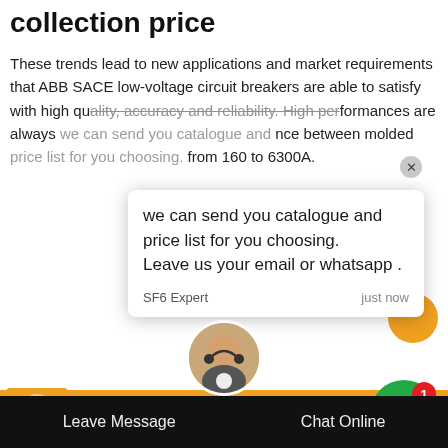collection price
These trends lead to new applications and market requirements that ABB SACE low-voltage circuit breakers are able to satisfy with high quality, accuracy and reliability. High performances are always … nce between molded … from 160 to 6300A.
[Figure (screenshot): Chat popup overlay showing message: 'we can send you catalogue and price list for you choosing. Leave us your email or whatsapp .' from SF6 Expert, just now. With a close X button. Below is a reply input box with thumbs-up and paperclip icons. A green chat notification bubble with badge '1' appears at right. Orange banner strip with avatar at left. Bottom photo of electrical power infrastructure. Bottom bar with 'Leave Message' and 'Chat Online' buttons and customer service agent photo.]